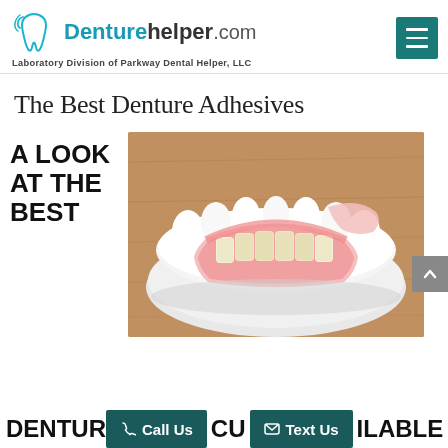Denturehelper.com — Laboratory Division of Parkway Dental Helper, LLC
The Best Denture Adhesives
A LOOK AT THE BEST
[Figure (photo): Photo of a lower dental denture prosthesis resting on a white plaster dental mold, on a wooden surface. The denture shows pink acrylic gum with yellowish-white artificial teeth.]
DENTUR  CU  ILABLE